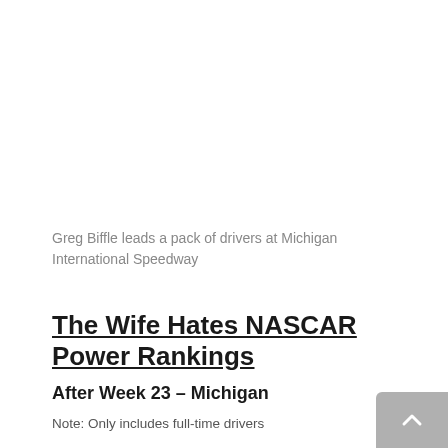Greg Biffle leads a pack of drivers at Michigan International Speedway
The Wife Hates NASCAR Power Rankings
After Week 23 – Michigan
Note: Only includes full-time drivers